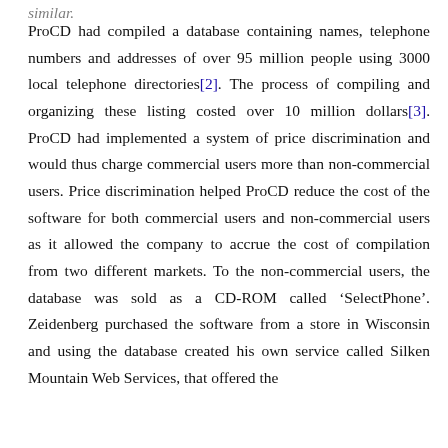ProCD had compiled a database containing names, telephone numbers and addresses of over 95 million people using 3000 local telephone directories[2]. The process of compiling and organizing these listing costed over 10 million dollars[3]. ProCD had implemented a system of price discrimination and would thus charge commercial users more than non-commercial users. Price discrimination helped ProCD reduce the cost of the software for both commercial users and non-commercial users as it allowed the company to accrue the cost of compilation from two different markets. To the non-commercial users, the database was sold as a CD-ROM called ‘SelectPhone’. Zeidenberg purchased the software from a store in Wisconsin and using the database created his own service called Silken Mountain Web Services, that offered the